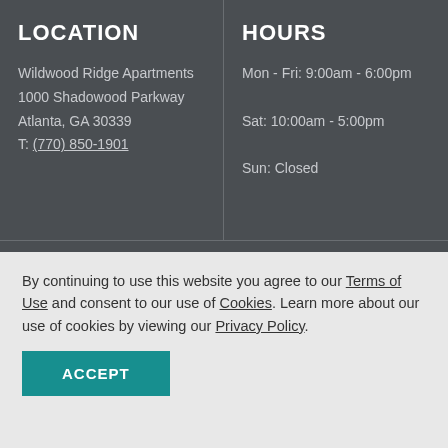LOCATION
Wildwood Ridge Apartments
1000 Shadowood Parkway
Atlanta, GA 30339
T: (770) 850-1901
HOURS
Mon - Fri: 9:00am - 6:00pm
Sat: 10:00am - 5:00pm
Sun: Closed
[Figure (logo): RAM Partners logo with stylized RAM text and PARTNERS subtitle, with Facebook and RSS feed icons below]
[Figure (logo): W3C, accessibility, pets allowed, and fair housing compliance icons]
By continuing to use this website you agree to our Terms of Use and consent to our use of Cookies. Learn more about our use of cookies by viewing our Privacy Policy.
ACCEPT